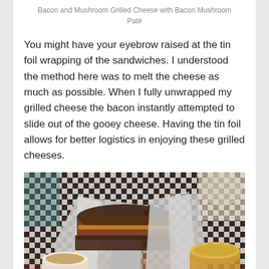Bacon and Mushroom Grilled Cheese with Bacon Mushroom Paté
You might have your eyebrow raised at the tin foil wrapping of the sandwiches. I understood the method here was to melt the cheese as much as possible. When I fully unwrapped my grilled cheese the bacon instantly attempted to slide out of the gooey cheese. Having the tin foil allows for better logistics in enjoying these grilled cheeses.
[Figure (photo): A grilled cheese sandwich wrapped partially in tin foil, sitting in a checkered paper-lined basket with small cups of soup/dipping sauce on the sides.]